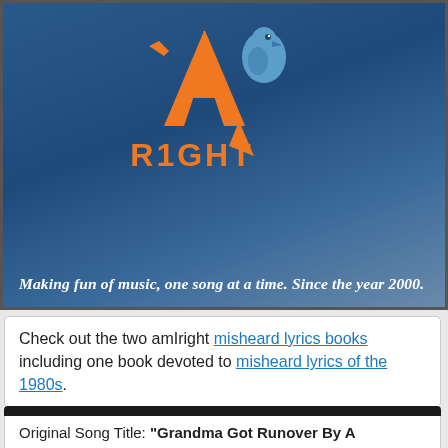[Figure (logo): AmIRight logo with orange stylized bird/letter A and blue bird, text 'RIGHT' in orange below]
Making fun of music, one song at a time. Since the year 2000.
Check out the two amIright misheard lyrics books including one book devoted to misheard lyrics of the 1980s.
Song Parodies -> "25 Parodies Of Christmas: 15. Grandma Got Molested By A Reindeer"
Original Song Title: "Grandma Got Runover By A Reindeer"
Original Performer: Dr. Elmo